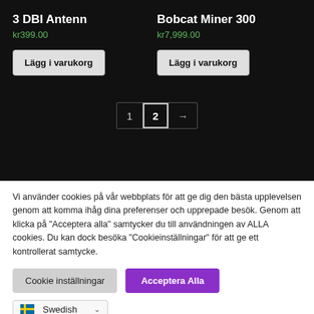3 DBI Antenn
kr399.00
Lägg i varukorg
Bobcat Miner 300
kr7,999.00
Lägg i varukorg
[Figure (other): Pagination control showing page 1, page 2 (active), and next arrow button]
Vi använder cookies på vår webbplats för att ge dig den bästa upplevelsen genom att komma ihåg dina preferenser och upprepade besök. Genom att klicka på "Acceptera alla" samtycker du till användningen av ALLA cookies. Du kan dock besöka "Cookieinställningar" för att ge ett kontrollerat samtycke.
Cookie inställningar
Acceptera Alla
Swedish